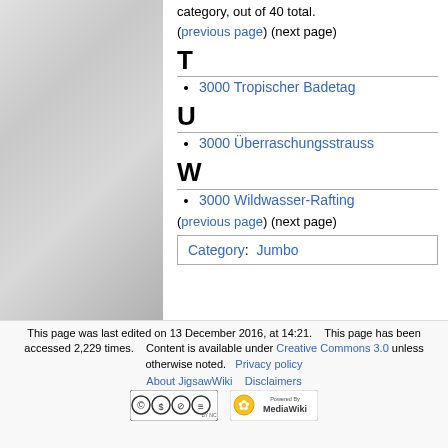category, out of 40 total.
(previous page) (next page)
T
3000 Tropischer Badetag
U
3000 Überraschungsstrauss
W
3000 Wildwasser-Rafting
(previous page) (next page)
Category:  Jumbo
This page was last edited on 13 December 2016, at 14:21.   This page has been accessed 2,229 times.   Content is available under Creative Commons 3.0 unless otherwise noted.   Privacy policy   About JigsawWiki   Disclaimers